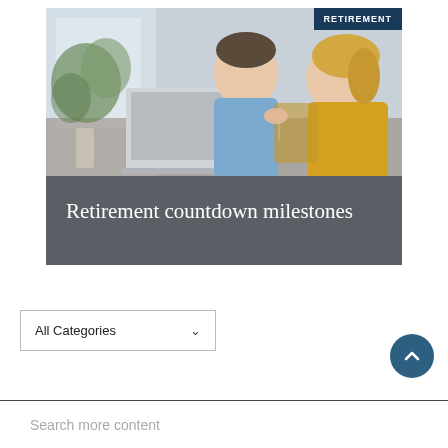[Figure (photo): Middle-aged couple (man in blue shirt, woman in mustard top) looking at a laptop together in a bright room with plants in the background. A blue 'RETIREMENT' badge is in the top-right corner of the image.]
Retirement countdown milestones
All Categories
Search more content